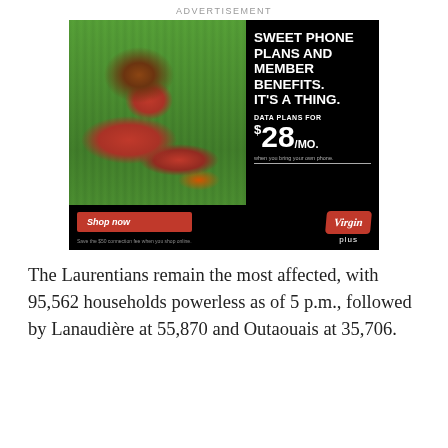ADVERTISEMENT
[Figure (illustration): Virgin Plus advertisement showing a woman in a red dress lying on grass holding a phone, with headline 'SWEET PHONE PLANS AND MEMBER BENEFITS. IT'S A THING.' and data plans for $28/mo. Includes a red 'Shop now' button and Virgin Plus logo.]
The Laurentians remain the most affected, with 95,562 households powerless as of 5 p.m., followed by Lanaudière at 55,870 and Outaouais at 35,706.